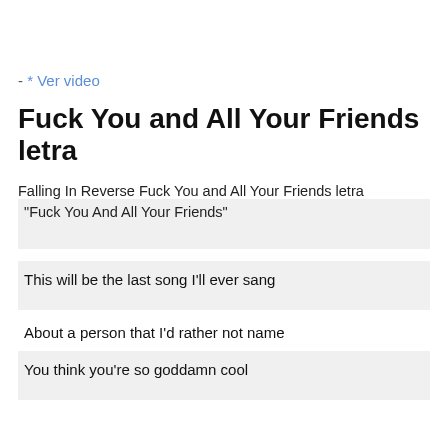- * Ver video
Fuck You and All Your Friends letra
Falling In Reverse Fuck You and All Your Friends letra
"Fuck You And All Your Friends"
This will be the last song I'll ever sang
About a person that I'd rather not name
You think you're so goddamn cool